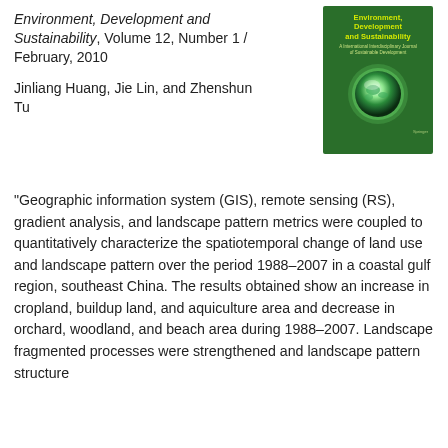Environment, Development and Sustainability, Volume 12, Number 1 / February, 2010
[Figure (illustration): Book cover of Environment, Development and Sustainability journal — green background with yellow title text and globe image]
Jinliang Huang, Jie Lin, and Zhenshun Tu
“Geographic information system (GIS), remote sensing (RS), gradient analysis, and landscape pattern metrics were coupled to quantitatively characterize the spatiotemporal change of land use and landscape pattern over the period 1988–2007 in a coastal gulf region, southeast China. The results obtained show an increase in cropland, buildup land, and aquiculture area and decrease in orchard, woodland, and beach area during 1988–2007. Landscape fragmented processes were strengthened and landscape pattern structure